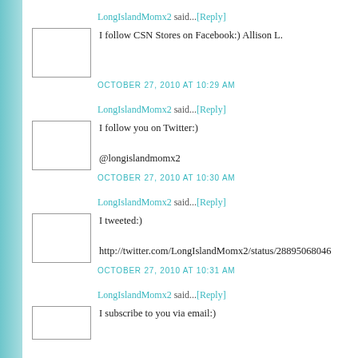LongIslandMomx2 said...[Reply]
I follow CSN Stores on Facebook:) Allison L.
OCTOBER 27, 2010 AT 10:29 AM
LongIslandMomx2 said...[Reply]
I follow you on Twitter:)

@longislandmomx2
OCTOBER 27, 2010 AT 10:30 AM
LongIslandMomx2 said...[Reply]
I tweeted:)

http://twitter.com/LongIslandMomx2/status/28895068046
OCTOBER 27, 2010 AT 10:31 AM
LongIslandMomx2 said...[Reply]
I subscribe to you via email:)